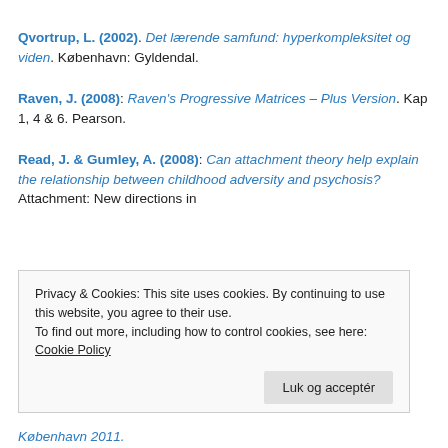Qvortrup, L. (2002). Det lærende samfund: hyperkompleksitet og viden. København: Gyldendal.
Raven, J. (2008): Raven's Progressive Matrices – Plus Version. Kap 1, 4 & 6. Pearson.
Read, J. & Gumley, A. (2008): Can attachment theory help explain the relationship between childhood adversity and psychosis? Attachment: New directions in … København 2011.
Privacy & Cookies: This site uses cookies. By continuing to use this website, you agree to their use. To find out more, including how to control cookies, see here: Cookie Policy